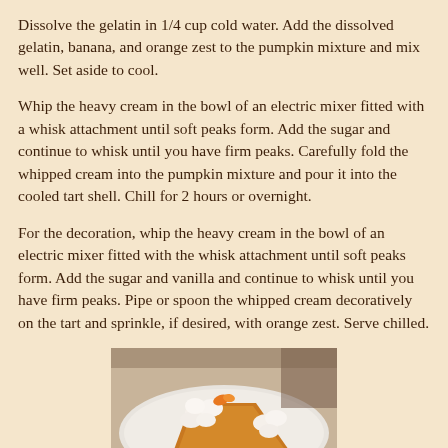Dissolve the gelatin in 1/4 cup cold water. Add the dissolved gelatin, banana, and orange zest to the pumpkin mixture and mix well. Set aside to cool.
Whip the heavy cream in the bowl of an electric mixer fitted with a whisk attachment until soft peaks form. Add the sugar and continue to whisk until you have firm peaks. Carefully fold the whipped cream into the pumpkin mixture and pour it into the cooled tart shell. Chill for 2 hours or overnight.
For the decoration, whip the heavy cream in the bowl of an electric mixer fitted with the whisk attachment until soft peaks form. Add the sugar and vanilla and continue to whisk until you have firm peaks. Pipe or spoon the whipped cream decoratively on the tart and sprinkle, if desired, with orange zest. Serve chilled.
[Figure (photo): A photo of a slice of pumpkin tart on a white plate, topped with piped whipped cream and orange zest garnish.]